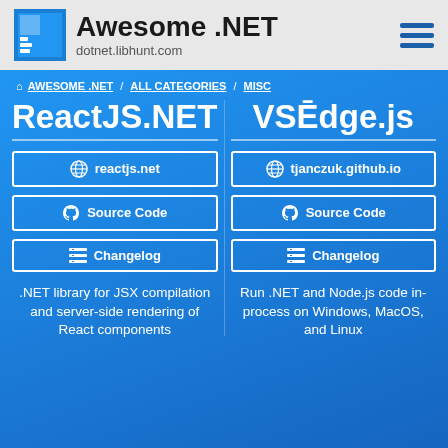Awesome .NET — dotnet.libhunt.com
AWESOME .NET / ALL CATEGORIES / MISC
ReactJS.NET vs VSEdge.js
reactjs.net
Source Code
Changelog
tjanczuk.github.io
Source Code
Changelog
.NET library for JSX compilation and server-side rendering of React components
Run .NET and Node.js code in-process on Windows, MacOS, and Linux